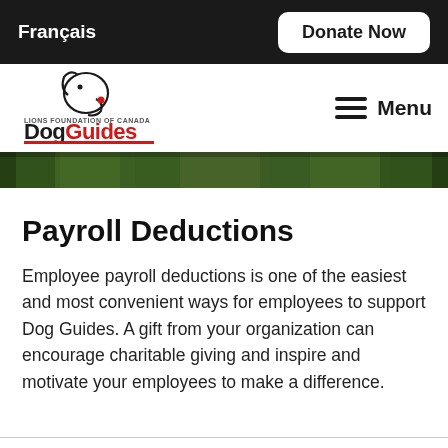Français    Donate Now
[Figure (logo): Dog Guides (Lions Foundation of Canada) logo with dog head illustration and red underline text]
[Figure (photo): Partial hero image showing green foliage/grass background]
Payroll Deductions
Employee payroll deductions is one of the easiest and most convenient ways for employees to support Dog Guides. A gift from your organization can encourage charitable giving and inspire and motivate your employees to make a difference.